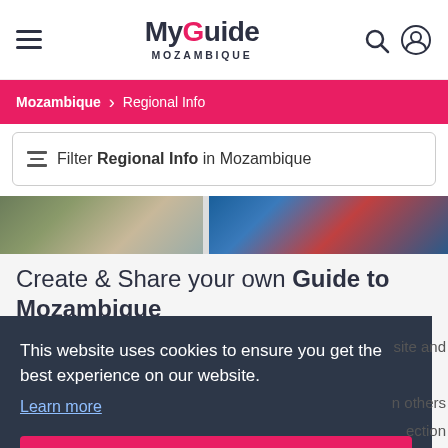My Guide MOZAMBIQUE
Mozambique > Regional Info
Filter Regional Info in Mozambique
[Figure (photo): Two partial photo thumbnails side by side — left shows an outdoor nature scene, right shows a colorful fabric/textile scene]
Create & Share your own Guide to Mozambique with friends and family!
This website uses cookies to ensure you get the best experience on our website. Learn more
Got it!